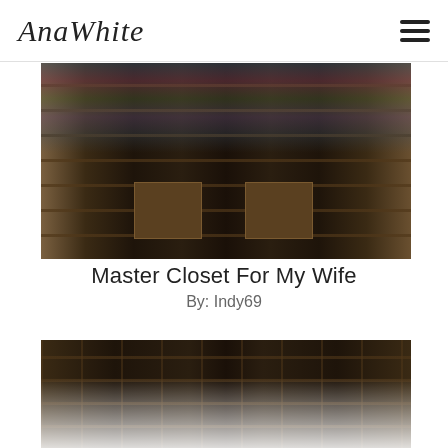AnaWhite
[Figure (photo): A well-organized walk-in master closet with dark wood shelving, hanging clothes in multiple colors, wooden drawer units, and storage baskets.]
Master Closet For My Wife
By: Indy69
[Figure (photo): A second closet photo showing curved shelving unit with folded clothes, hanging garments, and organized compartments for a walk-in closet.]